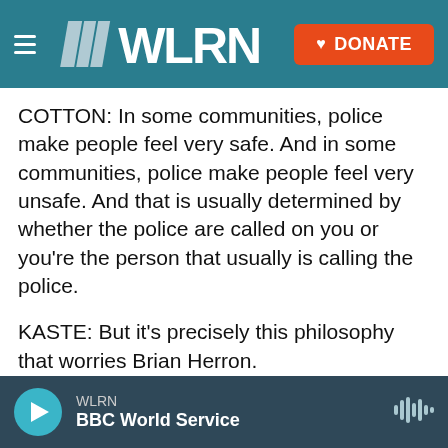[Figure (screenshot): WLRN navigation bar with hamburger menu, WLRN logo in white on teal background, and an orange DONATE button with heart icon]
COTTON: In some communities, police make people feel very safe. And in some communities, police make people feel very unsafe. And that is usually determined by whether the police are called on you or you're the person that usually is calling the police.
KASTE: But it's precisely this philosophy that worries Brian Herron.
BRIAN HERRON: This us-against-them mentality has to go.
KASTE: He was a member of Brian Council...
[Figure (screenshot): Audio player bar at bottom showing WLRN BBC World Service with a teal play button and waveform icon on dark background]